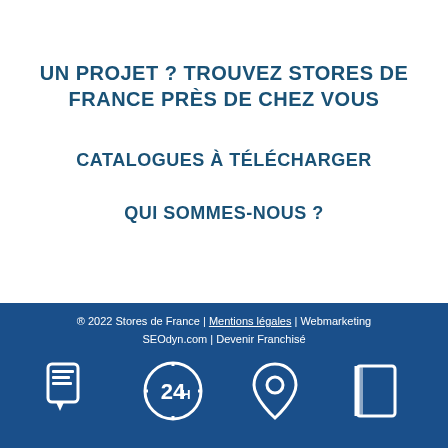UN PROJET ? TROUVEZ STORES DE FRANCE PRÈS DE CHEZ VOUS
CATALOGUES À TÉLÉCHARGER
QUI SOMMES-NOUS ?
® 2022 Stores de France | Mentions légales | Webmarketing SEOdyn.com | Devenir Franchisé